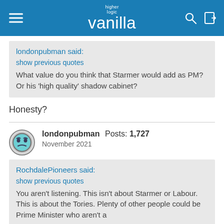higher logic vanilla
londonpubman said:
show previous quotes
What value do you think that Starmer would add as PM? Or his 'high quality' shadow cabinet?
Honesty?
londonpubman  Posts: 1,727
November 2021
RochdalePioneers said:
show previous quotes
You aren't listening. This isn't about Starmer or Labour. This is about the Tories. Plenty of other people could be Prime Minister who aren't a